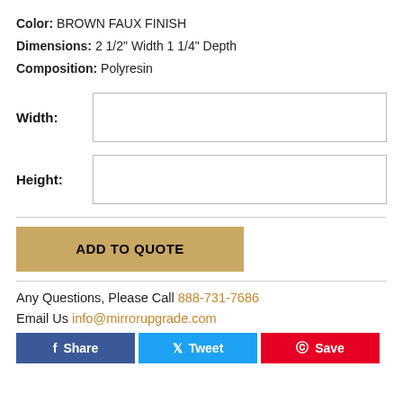Color: BROWN FAUX FINISH
Dimensions: 2 1/2" Width 1 1/4" Depth
Composition: Polyresin
Width: [input field]
Height: [input field]
ADD TO QUOTE
Any Questions, Please Call 888-731-7686
Email Us info@mirrorupgrade.com
Share  Tweet  Save